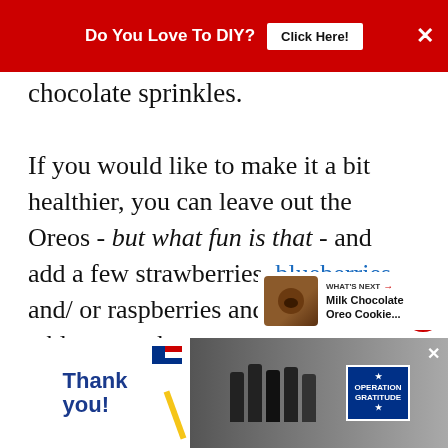Do You Love To DIY? Click Here! ×
chocolate sprinkles.
If you would like to make it a bit healthier, you can leave out the Oreos - but what fun is that - and add a few strawberries, blueberries and/ or raspberries and a couple of tablespoons honey.
[Figure (screenshot): Advertisement banner at bottom: 'Thank you!' with Operation Gratitude logo and firefighters photo]
[Figure (infographic): WHAT'S NEXT arrow label with Milk Chocolate Oreo Cookie... thumbnail]